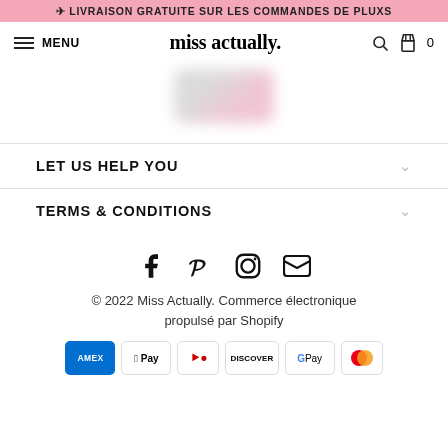✈ LIVRAISON GRATUITE SUR LES COMMANDES DE PLUS
MENU | miss actually. | 🔍 🛍 0
[Figure (photo): Blurred profile image placeholder]
LET US HELP YOU
TERMS & CONDITIONS
[Figure (infographic): Social media icons: Facebook, Pinterest, Instagram, Email]
© 2022 Miss Actually. Commerce électronique propulsé par Shopify
[Figure (infographic): Payment method badges: AMEX, Apple Pay, Diners Club, Discover, Google Pay, Maestro]